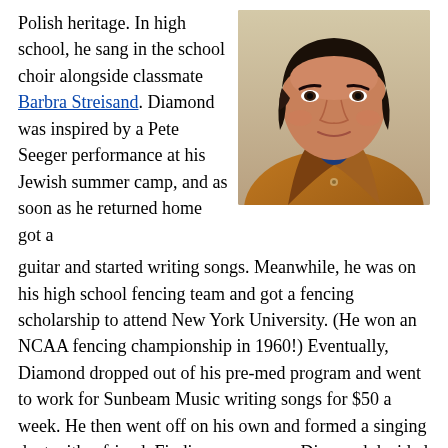Polish heritage. In high school, he sang in the school choir alongside classmate Barbra Streisand. Diamond was inspired by a Pete Seeger performance at his Jewish summer camp, and as soon as he returned home got a guitar and started writing songs. Meanwhile, he was on his high school fencing team and got a fencing scholarship to attend New York University. (He won an NCAA fencing championship in 1960!) Eventually, Diamond dropped out of his pre-med program and went to work for Sunbeam Music writing songs for $50 a week. He then went off on his own and formed a singing duet with a friend. Finding no success, Diamond decided to go solo and got a recording deal with Columbia in 1962. Unfortunately, despite good reviews his
[Figure (photo): Portrait photo of a man with dark hair wearing a brown leather jacket and blue shirt, looking directly at the camera. Appears to be a professional headshot from the 1970s or 1980s.]